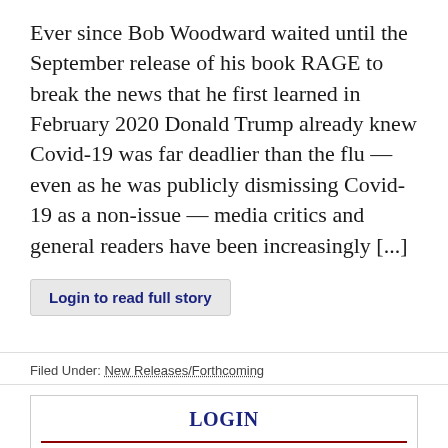Ever since Bob Woodward waited until the September release of his book RAGE to break the news that he first learned in February 2020 Donald Trump already knew Covid-19 was far deadlier than the flu — even as he was publicly dismissing Covid-19 as a non-issue — media critics and general readers have been increasingly [...]
Login to read full story
Filed Under: New Releases/Forthcoming
LOGIN
User name: